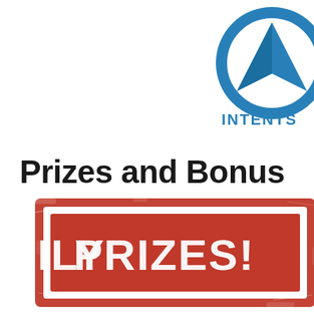[Figure (logo): Blue circular logo with a triangle/arrow shape inside, partially cropped on the right edge. Below the logo is the text 'INTENTS' in blue capital letters (partially cropped).]
Prizes and Bonus
[Figure (illustration): Red stamp-style graphic with distressed/grunge texture showing large bold text 'DAILY PRIZES!' — partially cropped at bottom of page. Faint watermark icons (location pin, cursor) visible in background.]